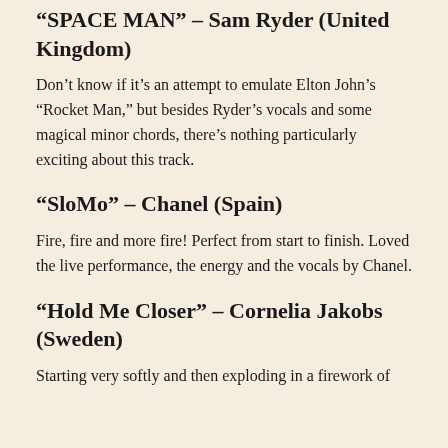“SPACE MAN” – Sam Ryder (United Kingdom)
Don’t know if it’s an attempt to emulate Elton John’s “Rocket Man,” but besides Ryder’s vocals and some magical minor chords, there’s nothing particularly exciting about this track.
“SloMo” – Chanel (Spain)
Fire, fire and more fire! Perfect from start to finish. Loved the live performance, the energy and the vocals by Chanel.
“Hold Me Closer” – Cornelia Jakobs (Sweden)
Starting very softly and then exploding in a firework of